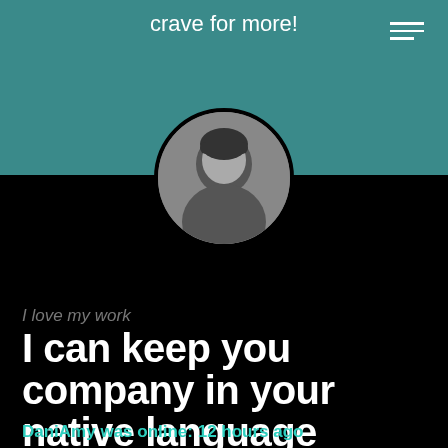crave for more!
[Figure (photo): Circular profile photo of a person (DaniAmy) on a dark background]
I love my work
I can keep you company in your native language
DaniAmy was online: 12 hours ago
English, Portuguese